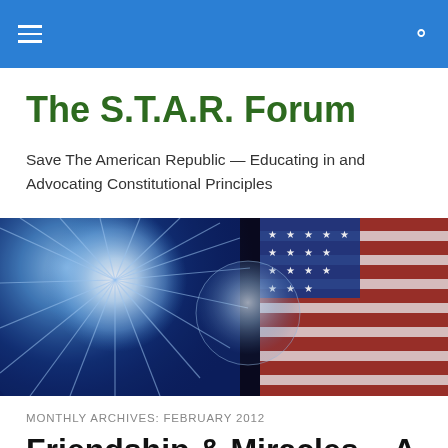The S.T.A.R. Forum
Save The American Republic — Educating in and Advocating Constitutional Principles
[Figure (illustration): Wide banner image showing a glowing radiant light burst in blue and white on the left, and an American flag with stars and red/white/blue colors on the right, against a dark space-like background.]
MONTHLY ARCHIVES: FEBRUARY 2012
Friendship & Miracles – A Night We Will Not Ever Forget